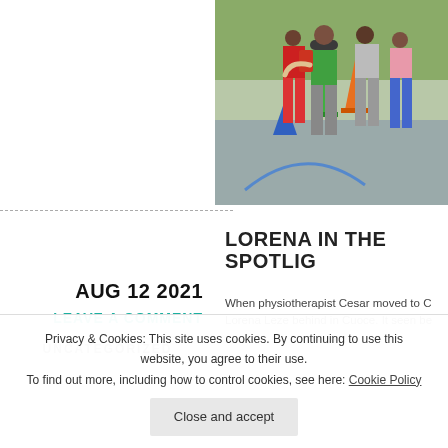[Figure (photo): Outdoor photo showing people, including children, standing together. Colorful traffic cones (orange, green, blue) visible on playground/outdoor area.]
AUG 12 2021
LEAVE A COMMENT
UNCATEGORIZED
LORENA IN THE SPOTLIGHT
When physiotherapist Cesar moved to C Lorena Leze behind in Cuoce. It seen be a jo
Privacy & Cookies: This site uses cookies. By continuing to use this website, you agree to their use. To find out more, including how to control cookies, see here: Cookie Policy
Close and accept